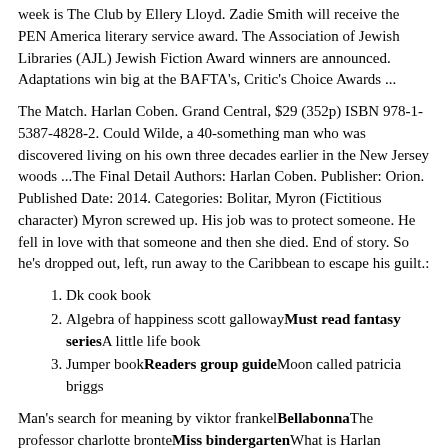week is The Club by Ellery Lloyd. Zadie Smith will receive the PEN America literary service award. The Association of Jewish Libraries (AJL) Jewish Fiction Award winners are announced. Adaptations win big at the BAFTA's, Critic's Choice Awards ...
The Match. Harlan Coben. Grand Central, $29 (352p) ISBN 978-1-5387-4828-2. Could Wilde, a 40-something man who was discovered living on his own three decades earlier in the New Jersey woods ...The Final Detail Authors: Harlan Coben. Publisher: Orion. Published Date: 2014. Categories: Bolitar, Myron (Fictitious character) Myron screwed up. His job was to protect someone. He fell in love with that someone and then she died. End of story. So he's dropped out, left, run away to the Caribbean to escape his guilt.:
Dk cook book
Algebra of happiness scott gallowayMust read fantasy seriesA little life book
Jumper bookReaders group guideMoon called patricia briggs
Man's search for meaning by viktor frankelBellabonnaThe professor charlotte bronteMiss bindergartenWhat is Harlan Coben's new book Win about? In this #1 New York Times bestselling thriller from Harlan Coben, a dead man's secrets fall into the hands of a vigilante antihero...drawing him down a